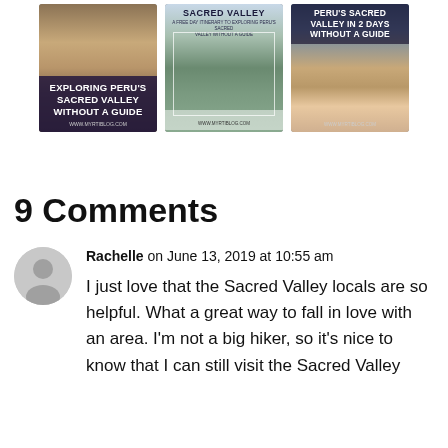[Figure (photo): Three Pinterest-style travel blog cards about exploring Peru's Sacred Valley. Left card: mountain landscape with text 'EXPLORING PERU'S SACRED VALLEY WITHOUT A GUIDE'. Middle card: road/path through valley with text 'SACRED VALLEY' at top. Right card: two smiling women with mountain backdrop and text 'PERU'S SACRED VALLEY IN 2 DAYS WITHOUT A GUIDE'.]
9 Comments
[Figure (illustration): Generic user avatar icon - grey circle with silhouette of person]
Rachelle on June 13, 2019 at 10:55 am
I just love that the Sacred Valley locals are so helpful. What a great way to fall in love with an area. I'm not a big hiker, so it's nice to know that I can still visit the Sacred Valley